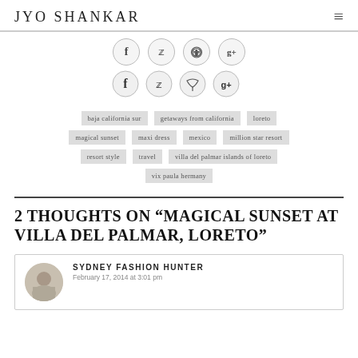JYO SHANKAR
f (Facebook), Twitter, Pinterest, g+ (Google+) social icons
baja california sur
getaways from california
loreto
magical sunset
maxi dress
mexico
million star resort
resort style
travel
villa del palmar islands of loreto
vix paula hermany
2 THOUGHTS ON “MAGICAL SUNSET AT VILLA DEL PALMAR, LORETO”
SYDNEY FASHION HUNTER
February 17, 2014 at 3:01 pm